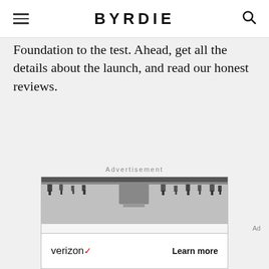BYRDIE
Foundation to the test. Ahead, get all the details about the launch, and read our honest reviews.
Advertisement
[Figure (photo): Studio photography setup with lights on ceiling rail, white backdrop, and Verizon advertisement banner at bottom showing verizon logo and Learn more button]
Ad